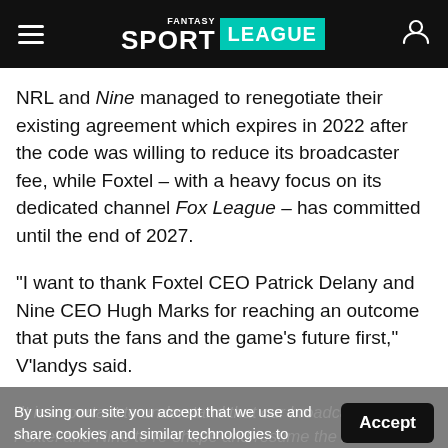SPORT LEAGUE
NRL and Nine managed to renegotiate their existing agreement which expires in 2022 after the code was willing to reduce its broadcaster fee, while Foxtel – with a heavy focus on its dedicated channel Fox League – has committed until the end of 2027.
"I want to thank Foxtel CEO Patrick Delany and Nine CEO Hugh Marks for reaching an outcome that puts the fans and the game's future first," V'landys said.
By using our site you accept that we use and share cookies and similar technologies to perform analytics and provide content and ads tailored to your interests. By continuing to use our site, you consent to this. Please see our Cookie Policy for more information.